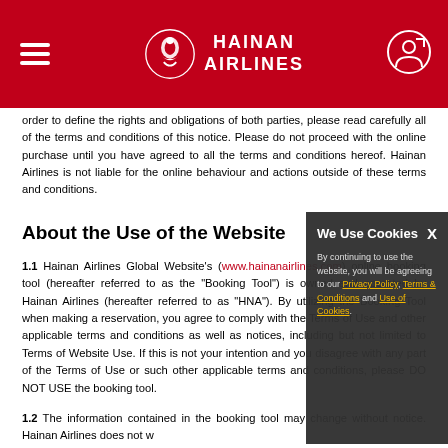Hainan Airlines
order to define the rights and obligations of both parties, please read carefully all of the terms and conditions of this notice. Please do not proceed with the online purchase until you have agreed to all the terms and conditions hereof. Hainan Airlines is not liable for the online behaviour and actions outside of these terms and conditions.
About the Use of the Website
1.1 Hainan Airlines Global Website's (www.hainanerlines.com) online booking tool (hereafter referred to as the "Booking Tool") is owned and operated by Hainan Airlines (hereafter referred to as "HNA"). By utilizing the Booking Tool when making a reservation, you agree to comply with the Terms of Use and other applicable terms and conditions as well as notices, including but not limited to Terms of Website Use. If this is not your intention and you disagree with any part of the Terms of Use or such other applicable terms and conditions, please DO NOT USE the booking tool.
1.2 The information contained in the booking tool may change without notice. Hainan Airlines does not warrant the accuracy or completeness of the Booking Tool, any data or information contained in the Booking Tool.
1.3 Hainan Airlines Global Website's booking tool is solely to assist you in making legitimate reservations and purchases for yourself and those travelling with you. Abuse of the Booking Tool may, amongst other restraints, result in the prohibition of your future access to it.
Booking Policies
[Figure (infographic): Cookie consent overlay with title 'We Use Cookies', close button X, and text about agreeing to Privacy Policy, Terms & Conditions, and Use of Cookies with underlined links.]